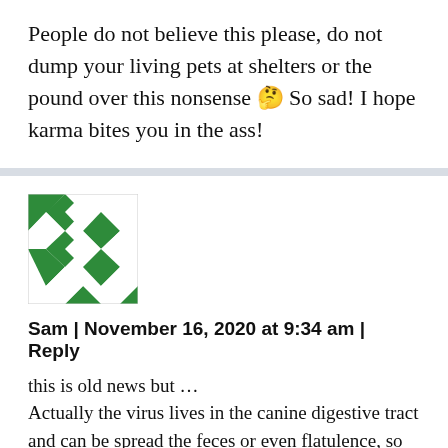People do not believe this please, do not dump your living pets at shelters or the pound over this nonsense 🤔 So sad! I hope karma bites you in the ass!
Sam | November 16, 2020 at 9:34 am | Reply
this is old news but …
Actually the virus lives in the canine digestive tract and can be spread the feces or even flatulence, so yes this article is true , like it or not.